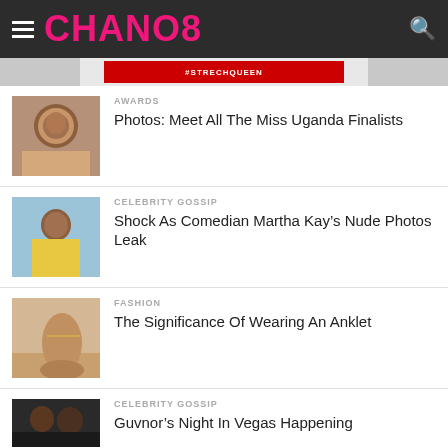CHANO8
[Figure (photo): Partial banner image with red strip]
[Figure (photo): Woman smiling, Miss Uganda Finalists thumbnail]
AWARDS
Photos: Meet All The Miss Uganda Finalists
[Figure (photo): Woman with long hair, Celebrity Gossip thumbnail]
CELEBRITY GOSSIP
Shock As Comedian Martha Kay's Nude Photos Leak
[Figure (photo): Foot with anklet, Fashion thumbnail]
FASHION
The Significance Of Wearing An Anklet
[Figure (photo): Two people at night, Celebrity Gossip thumbnail]
CELEBRITY GOSSIP
Guvnor's Night In Vegas Happening